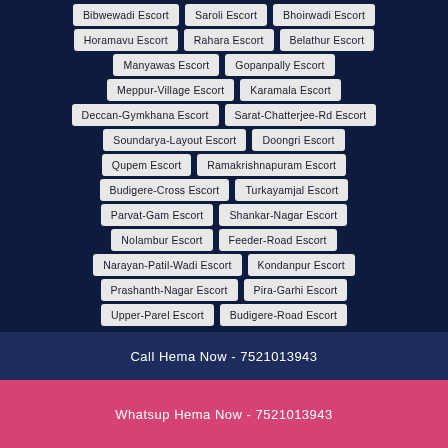Bibwewadi Escort
Saroli Escort
Bhoirwadi Escort
Horamavu Escort
Rahara Escort
Belathur Escort
Manyawas Escort
Gopanpally Escort
Meppur-Village Escort
Karamala Escort
Deccan-Gymkhana Escort
Sarat-Chatterjee-Rd Escort
Soundarya-Layout Escort
Doongri Escort
Qupem Escort
Ramakrishnapuram Escort
Budigere-Cross Escort
Turkayamjal Escort
Parvat-Gam Escort
Shankar-Nagar Escort
Nolambur Escort
Feeder-Road Escort
Narayan-Patil-Wadi Escort
Kondanpur Escort
Prashanth-Nagar Escort
Pira-Garhi Escort
Upper-Parel Escort
Budigere-Road Escort
Call Hema Now - 7521013943
Whatsup Hema Now - 7521013943